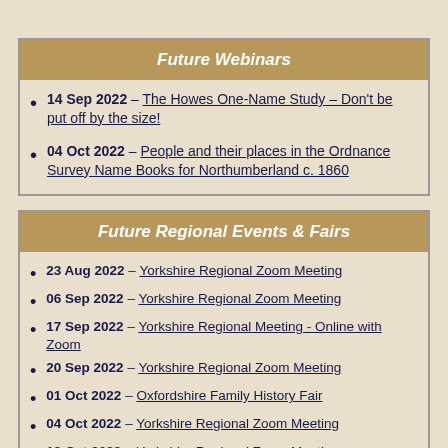Future Webinars
14 Sep 2022 – The Howes One-Name Study – Don't be put off by the size!
04 Oct 2022 – People and their places in the Ordnance Survey Name Books for Northumberland c. 1860
Future Regional Events & Fairs
23 Aug 2022 – Yorkshire Regional Zoom Meeting
06 Sep 2022 – Yorkshire Regional Zoom Meeting
17 Sep 2022 – Yorkshire Regional Meeting - Online with Zoom
20 Sep 2022 – Yorkshire Regional Zoom Meeting
01 Oct 2022 – Oxfordshire Family History Fair
04 Oct 2022 – Yorkshire Regional Zoom Meeting
18 Oct 2022 – Yorkshire Regional Zoom Meeting
22 Oct 2022 – UK - Autumn Regional Meeting in